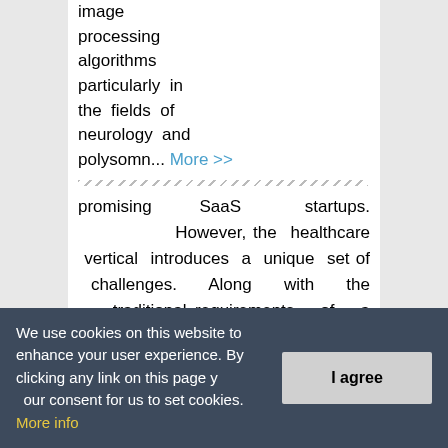image processing algorithms particularly in the fields of neurology and polysomn... More >>
promising SaaS startups. However, the healthcare vertical introduces a unique set of challenges. Along with the traditional requirements of a SaaS platform, there are added requirements from the clinical utilization of the service. While companies prefer standardization in workflow to simplify...
We use cookies on this website to enhance your user experience. By clicking any link on this page you give your consent for us to set cookies. More info